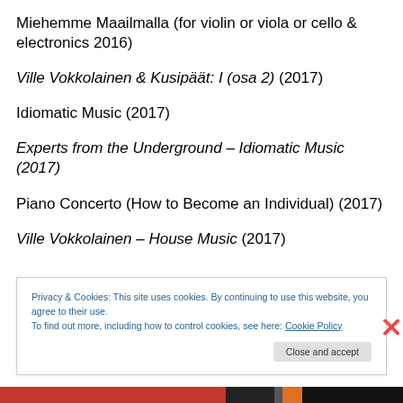Miehemme Maailmalla (for violin or viola or cello & electronics 2016)
Ville Vokkolainen & Kusipäät: I (osa 2) (2017)
Idiomatic Music (2017)
Experts from the Underground – Idiomatic Music (2017)
Piano Concerto (How to Become an Individual) (2017)
Ville Vokkolainen – House Music (2017)
Privacy & Cookies: This site uses cookies. By continuing to use this website, you agree to their use.
To find out more, including how to control cookies, see here: Cookie Policy